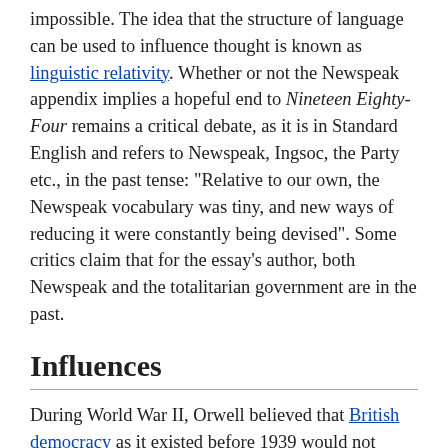impossible. The idea that the structure of language can be used to influence thought is known as linguistic relativity. Whether or not the Newspeak appendix implies a hopeful end to Nineteen Eighty-Four remains a critical debate, as it is in Standard English and refers to Newspeak, Ingsoc, the Party etc., in the past tense: "Relative to our own, the Newspeak vocabulary was tiny, and new ways of reducing it were constantly being devised". Some critics claim that for the essay's author, both Newspeak and the totalitarian government are in the past.
Influences
During World War II, Orwell believed that British democracy as it existed before 1939 would not survive the war. The question being "Would it end via Fascist coup d'état from above or via Socialist revolution from below?" Later, he admitted that events proved him wrong: "What really matters is that I fell into the trap of assuming that 'the war and the revolution are inseparable'."